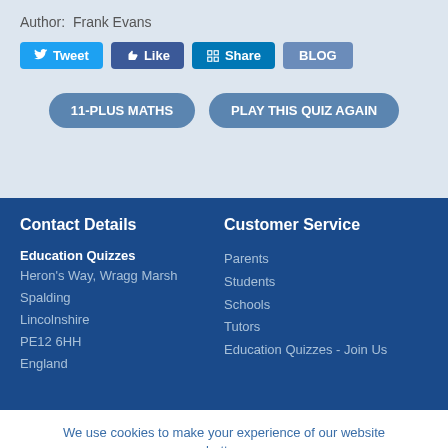Author:  Frank Evans
Tweet  Like  Share  BLOG
11-PLUS MATHS  PLAY THIS QUIZ AGAIN
Contact Details
Customer Service
Education Quizzes
Heron's Way, Wragg Marsh
Spalding
Lincolnshire
PE12 6HH
England
Parents
Students
Schools
Tutors
Education Quizzes - Join Us
We use cookies to make your experience of our website better.
To comply with the new e-Privacy directive, we need to ask